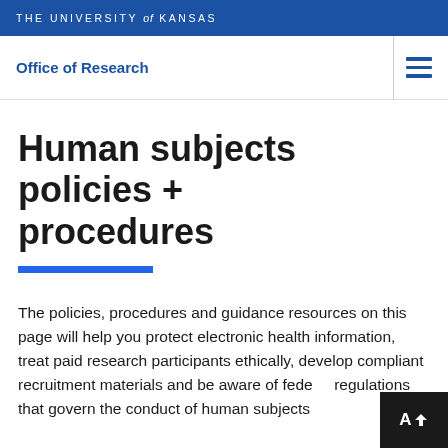THE UNIVERSITY of KANSAS
Office of Research
Human subjects policies + procedures
The policies, procedures and guidance resources on this page will help you protect electronic health information, treat paid research participants ethically, develop compliant recruitment materials and be aware of federal regulations that govern the conduct of human subjects